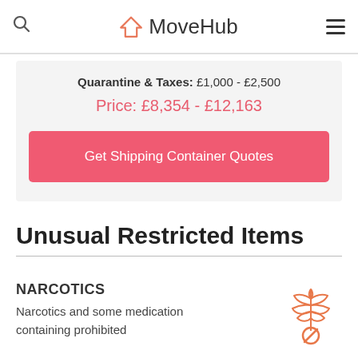MoveHub
Quarantine & Taxes: £1,000 - £2,500
Price: £8,354 - £12,163
Get Shipping Container Quotes
Unusual Restricted Items
NARCOTICS
Narcotics and some medication containing prohibited